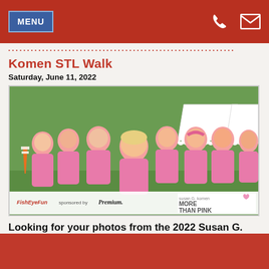MENU (navigation bar with phone and email icons)
Komen STL Walk
Saturday, June 11, 2022
[Figure (photo): Group of people wearing pink Walgreens t-shirts at the Susan G. Komen More Than Pink Walk in St. Louis, posing energetically outdoors near a white tent. Photo sponsored by FishEyeFun and Premium. Susan G. Komen More Than Pink Greater St. Louis WALK logo visible in lower right.]
Looking for your photos from the 2022 Susan G.